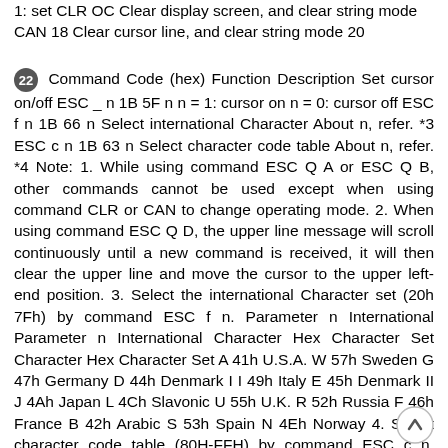1: set CLR OC Clear display screen, and clear string mode CAN 18 Clear cursor line, and clear string mode 20
22 Command Code (hex) Function Description Set cursor on/off ESC _ n 1B 5F n n = 1: cursor on n = 0: cursor off ESC f n 1B 66 n Select international Character About n, refer. *3 ESC c n 1B 63 n Select character code table About n, refer. *4 Note: 1. While using command ESC Q A or ESC Q B, other commands cannot be used except when using command CLR or CAN to change operating mode. 2. When using command ESC Q D, the upper line message will scroll continuously until a new command is received, it will then clear the upper line and move the cursor to the upper left-end position. 3. Select the international Character set (20h 7Fh) by command ESC f n. Parameter n International Parameter n International Character Hex Character Set Character Hex Character Set A 41h U.S.A. W 57h Sweden G 47h Germany D 44h Denmark I I 49h Italy E 45h Denmark II J 4Ah Japan L 4Ch Slavonic U 55h U.K. R 52h Russia F 46h France B 42h Arabic S 53h Spain N 4Eh Norway 4. Select character code table (80H-FFH) by command ESC c n. Parameter n Character Hex character Code Table A 41h Compliance with ASCII code (CP-437) I 4Ah Compliance with